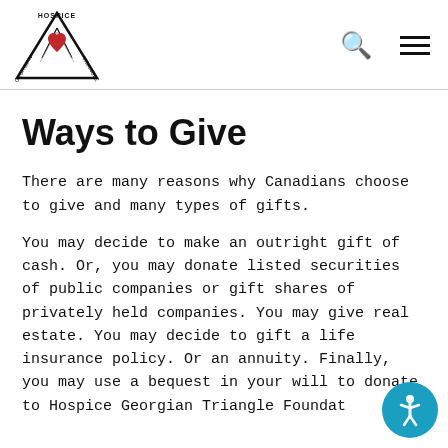[Figure (logo): Hospice Georgian Triangle logo: triangle shape with a red heart and two feathers/wings, text HOSPICE on top, GEORGIAN TRIANGLE around triangle border]
Hospice Georgian Triangle website header with logo, search icon, and menu icon
Ways to Give
There are many reasons why Canadians choose to give and many types of gifts.
You may decide to make an outright gift of cash. Or, you may donate listed securities of public companies or gift shares of privately held companies. You may give real estate. You may decide to gift a life insurance policy. Or an annuity. Finally, you may use a bequest in your will to donate to Hospice Georgian Triangle Foundat